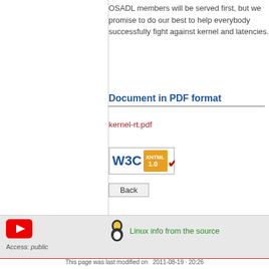OSADL members will be served first, but we promise to do our best to help everybody successfully fight against kernel and latencies.
Document in PDF format
kernel-rt.pdf
[Figure (logo): W3C XHTML 1.0 validation badge]
Back
[Figure (logo): YouTube red play button icon]
Linux info from the source
Access: public
This page was last modified on  2011-08-19 · 20:26